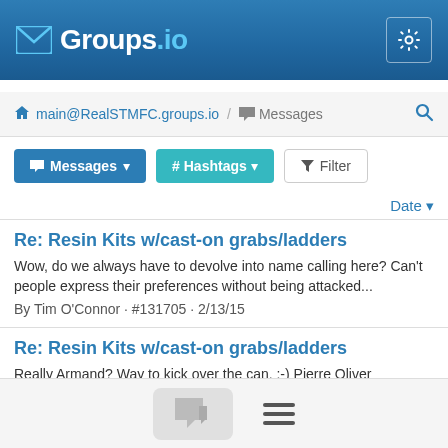Groups.io
main@RealSTMFC.groups.io / Messages
Messages | # Hashtags | Filter
Date
Re: Resin Kits w/cast-on grabs/ladders
Wow, do we always have to devolve into name calling here? Can't people express their preferences without being attacked...
By Tim O'Connor · #131705 · 2/13/15
Re: Resin Kits w/cast-on grabs/ladders
Really Armand? Way to kick over the can. :-) Pierre Oliver www.elgincarshops.com www.yarmouthmodelworks.com